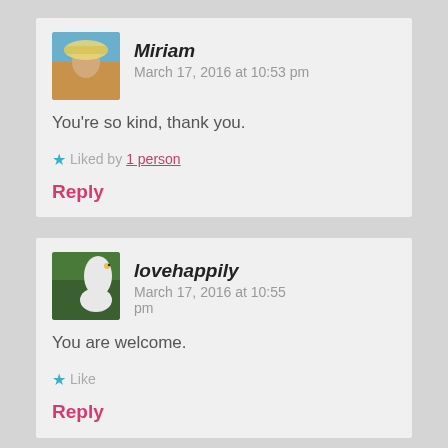Miriam  March 17, 2016 at 10:53 pm
You're so kind, thank you.
★ Liked by 1 person
Reply
lovehappily  March 17, 2016 at 10:55 pm
You are welcome.
★ Like
Reply